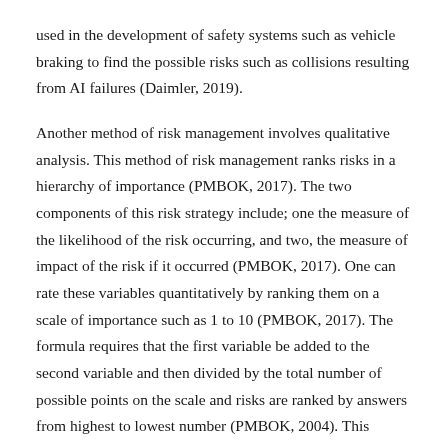used in the development of safety systems such as vehicle braking to find the possible risks such as collisions resulting from AI failures (Daimler, 2019).
Another method of risk management involves qualitative analysis. This method of risk management ranks risks in a hierarchy of importance (PMBOK, 2017). The two components of this risk strategy include; one the measure of the likelihood of the risk occurring, and two, the measure of impact of the risk if it occurred (PMBOK, 2017). One can rate these variables quantitatively by ranking them on a scale of importance such as 1 to 10 (PMBOK, 2017). The formula requires that the first variable be added to the second variable and then divided by the total number of possible points on the scale and risks are ranked by answers from highest to lowest number (PMBOK, 2004). This method is utilized in developing less crucial systems such as lifestyle advancements (Daimler,